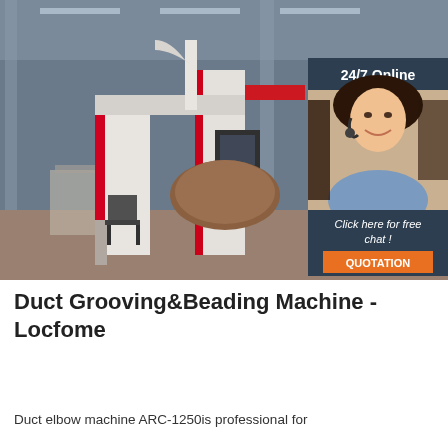[Figure (photo): Industrial photo of a large Duct Grooving & Beading Machine (ARC-1250) in a factory/warehouse setting. The machine is white and red, with various mechanical components. An overlay panel on the right side shows a '24/7 Online' customer service agent (woman with headset, smiling), text 'Click here for free chat!', and an orange 'QUOTATION' button.]
Duct Grooving&Beading Machine - Locfome
Duct elbow machine ARC-1250is professional for